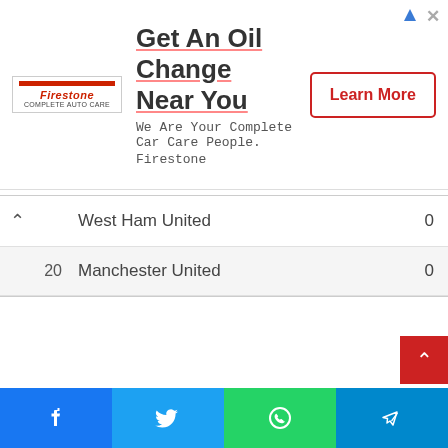[Figure (other): Firestone advertisement banner. Logo on left with red stripe and italic text 'Firestone'. Ad headline 'Get An Oil Change Near You', subtext 'We Are Your Complete Car Care People. Firestone'. Red-outlined 'Learn More' button on right. Ad icons top right corner.]
|  | West Ham United | 0 |
| 20 | Manchester United | 0 |
[Figure (other): Red scroll-to-top button with white upward chevron arrow, positioned bottom right.]
[Figure (other): Social share bar with four buttons: Facebook (blue), Twitter (light blue), WhatsApp (green), Telegram (dark blue), each with white icon.]